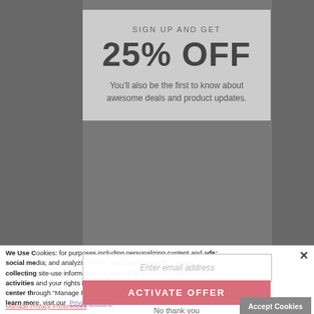SIGN UP AND GET
25% OFF
You'll also be the first to know about awesome deals and product updates.
Enter email address
ACTIVATE OFFER
No thank you
We Use Cookies: for purposes including personalizing content and ads; social media; and analyzing traffic, including third-party cookies collecting site-use information for marketing. Read more about those activities and your rights in our Privacy Policy, and access our preference center through "Manage Privacy Preferences" links on our webpages. To learn more, visit our Privacy Policy.
Manage Privacy Preferences
Accept Cookies